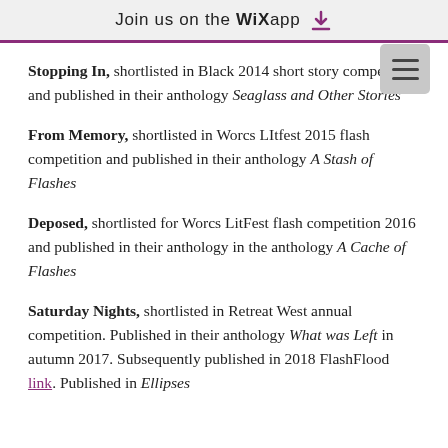Join us on the WiX app ↓
Stopping In, shortlisted in Black 2014 short story competition and published in their anthology Seaglass and Other Stories
From Memory, shortlisted in Worcs LItfest 2015 flash competition and published in their anthology A Stash of Flashes
Deposed, shortlisted for Worcs LitFest flash competition 2016 and published in their anthology in the anthology A Cache of Flashes
Saturday Nights, shortlisted in Retreat West annual competition. Published in their anthology What was Left in autumn 2017. Subsequently published in 2018 FlashFlood link. Published in Ellipses...